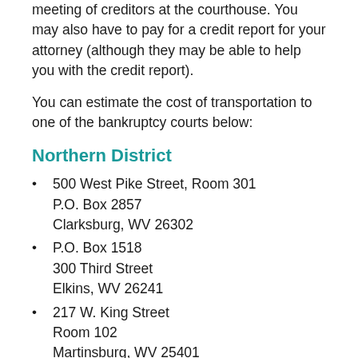meeting of creditors at the courthouse. You may also have to pay for a credit report for your attorney (although they may be able to help you with the credit report).
You can estimate the cost of transportation to one of the bankruptcy courts below:
Northern District
500 West Pike Street, Room 301
P.O. Box 2857
Clarksburg, WV 26302
P.O. Box 1518
300 Third Street
Elkins, WV 26241
217 W. King Street
Room 102
Martinsburg, WV 25401
1125 Chapline Street...